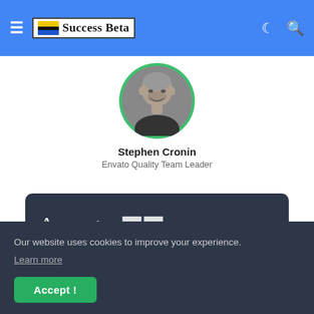Success Beta
[Figure (photo): Profile photo of Stephen Cronin, a bald man smiling, shown in grayscale inside a green circular avatar ring]
Stephen Cronin
Envato Quality Team Leader
Average
Our website uses cookies to improve your experience. Learn more
Accept !